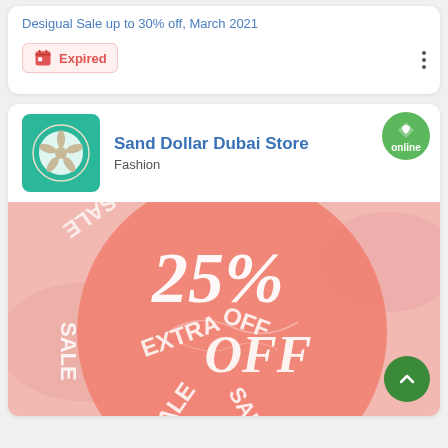Desigual Sale up to 30% off, March 2021
Expired
Sand Dollar Dubai Store
Fashion
[Figure (photo): Sand Dollar Dubai Store promotional image showing 25% OFF sale with coral pink background and SALE EXTRA OFF text around a circle]
online